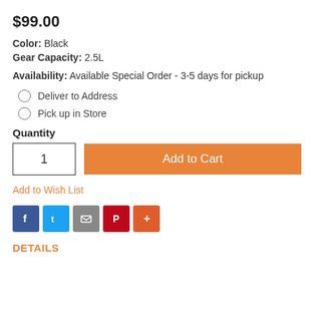$99.00
Color: Black
Gear Capacity: 2.5L
Availability: Available Special Order - 3-5 days for pickup
Deliver to Address
Pick up in Store
Quantity
1
Add to Cart
Add to Wish List
[Figure (infographic): Social sharing icons: Facebook, Twitter, Email, Pinterest, More]
DETAILS